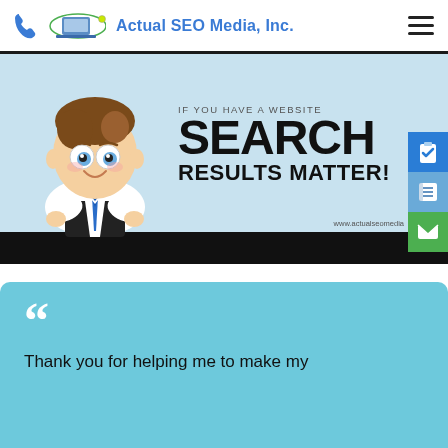Actual SEO Media, Inc.
[Figure (screenshot): Hero banner with cartoon businessman character and text: IF YOU HAVE A WEBSITE SEARCH RESULTS MATTER! with URL www.actualseomedia on a light blue background. Black bar at bottom. Side icons: blue clipboard with checkmark, blue document list, green envelope.]
Thank you for helping me to make my